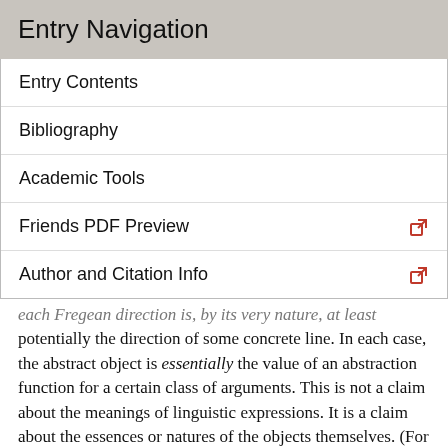Entry Navigation
Entry Contents
Bibliography
Academic Tools
Friends PDF Preview
Author and Citation Info
each Fregean direction is, by its very nature, at least potentially the direction of some concrete line. In each case, the abstract object is essentially the value of an abstraction function for a certain class of arguments. This is not a claim about the meanings of linguistic expressions. It is a claim about the essences or natures of the objects themselves. (For the relevant notion of essence, see Fine 1994). So for example, the Fregean number two (if there is such a thing) is, essentially, by its very nature, the number that belongs to a concept F if and only if there are exactly two Fs. More generally, for each Fregean abstract object x, there is an abstraction function